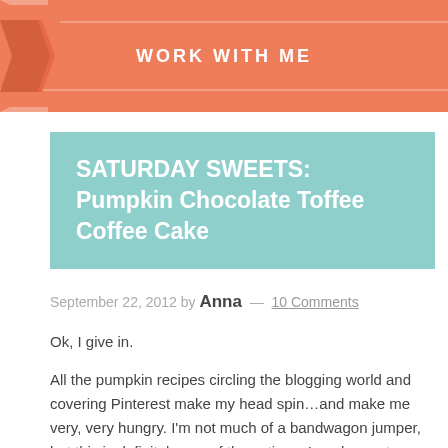WORK WITH ME
SATURDAY SWEETS: Pumpkin Chocolate Toffee Coffee Cake
September 22, 2012 by Anna — 10 Comments
Ok, I give in.
All the pumpkin recipes circling the blogging world and covering Pinterest make my head spin…and make me very, very hungry.  I'm not much of a bandwagon jumper, but this is definitely one of those times I am happy to follow the crowd – it's a smart crowd.  It's time to break out the pumpkin (not that I had it away for long!) and move completely and irreversibly into the world of fall food. Bring on the apple pies, hot chocolate, pumpkin cream...